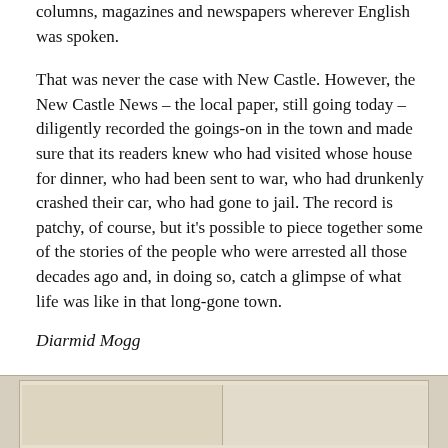columns, magazines and newspapers wherever English was spoken.
That was never the case with New Castle. However, the New Castle News – the local paper, still going today – diligently recorded the goings-on in the town and made sure that its readers knew who had visited whose house for dinner, who had been sent to war, who had drunkenly crashed their car, who had gone to jail. The record is patchy, of course, but it's possible to piece together some of the stories of the people who were arrested all those decades ago and, in doing so, catch a glimpse of what life was like in that long-gone town.
Diarmid Mogg
[Figure (photo): Partial view of a historical photograph, split into two panels, with a beige/sepia background suggesting an old document or image.]